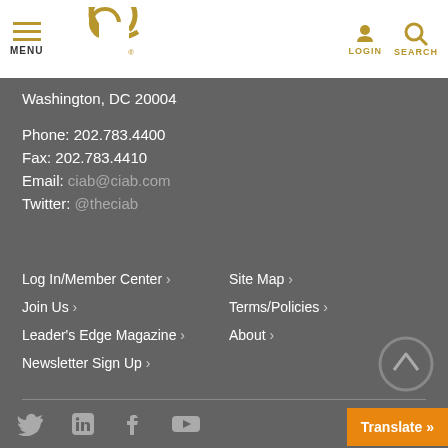[Figure (logo): CIAB logo - stylized circular C letters in gold]
MENU | LOGIN | SEARCH
Washington, DC 20004
Phone: 202.783.4400
Fax: 202.783.4410
Email: ciab@ciab.com
Twitter: @theciab
Log In/Member Center ›
Site Map ›
Join Us ›
Terms/Policies ›
Leader's Edge Magazine ›
About ›
Newsletter Sign Up ›
Social media icons: Twitter, LinkedIn, Facebook, YouTube | Translate »